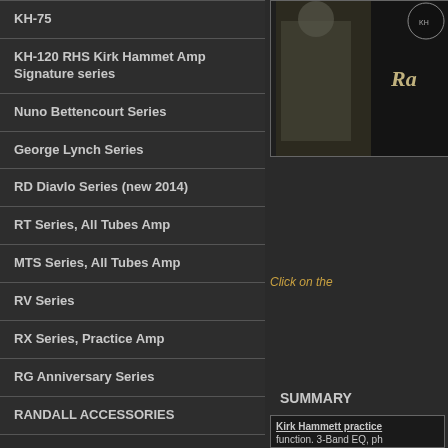KH-75
KH-120 RHS Kirk Hammet Amp Signature series
Nuno Bettencourt Series
George Lynch Series
RD Diavlo Series (new 2014)
RT Series, All Tubes Amp
MTS Series, All Tubes Amp
RV Series
RX Series, Practice Amp
RG Anniversary Series
RANDALL ACCESSORIES
[Figure (photo): Photo of Kirk Hammett with guitar and Randall amplifier logo]
Click on the
SUMMARY
Kirk Hammett practice function. 3-Band EQ, ph